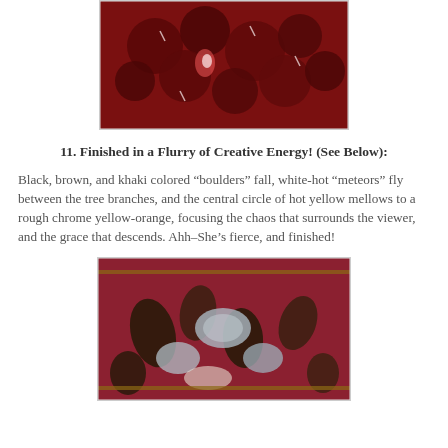[Figure (photo): A red textile/quilt artwork with dark red circular shapes resembling flowers or blood cells, on a white surface.]
11. Finished in a Flurry of Creative Energy! (See Below):
Black, brown, and khaki colored “boulders” fall, white-hot “meteors” fly between the tree branches, and the central circle of hot yellow mellows to a rough chrome yellow-orange, focusing the chaos that surrounds the viewer, and the grace that descends. Ahh–She’s fierce, and finished!
[Figure (photo): A finished quilt/textile artwork hanging on a wall, featuring dark brown and black boulder-like shapes against a dark red background with light blue-grey meteor shapes.]